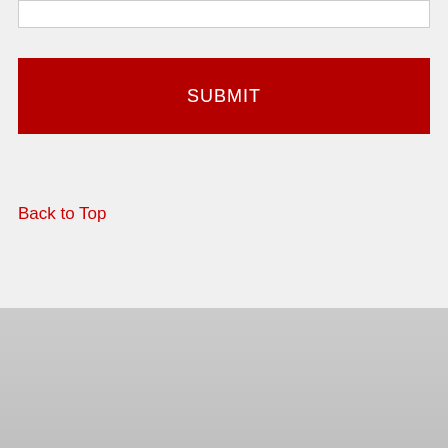[Figure (screenshot): White input text box at the top of the page]
[Figure (screenshot): Red SUBMIT button]
Back to Top
Allergy and Nutrition Disclaimers
Allergy Disclaimer: NC State Dining makes effort to identify ingredients that may cause